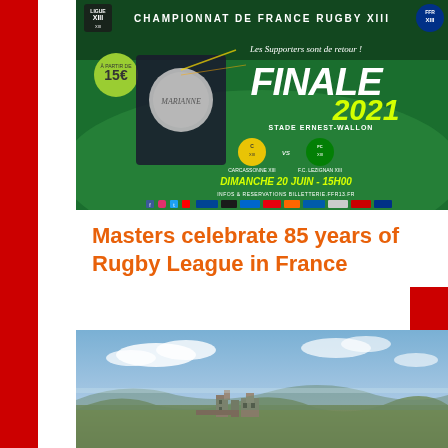[Figure (photo): Promotional poster for Championnat de France Rugby XIII Finale 2021 at Stade Ernest-Wallon. Features Carcassonne XIII vs F.C. Lezignan XIII, Dimanche 20 Juin - 15H00. Tickets from 15€. Infos & reservations billetterie.ffr13.fr]
Masters celebrate 85 years of Rugby League in France
[Figure (photo): Outdoor landscape photo showing a blue sky with clouds and what appears to be old stone ruins or buildings in a rural French setting.]